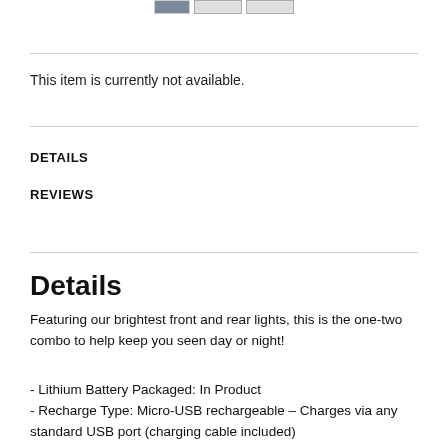[Figure (other): Small thumbnail images at the top of the page]
This item is currently not available.
DETAILS
REVIEWS
Details
Featuring our brightest front and rear lights, this is the one-two combo to help keep you seen day or night!
- Lithium Battery Packaged: In Product
- Recharge Type: Micro-USB rechargeable – Charges via any standard USB port (charging cable included)